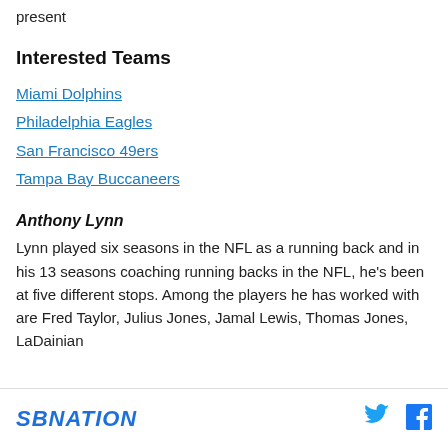present
Interested Teams
Miami Dolphins
Philadelphia Eagles
San Francisco 49ers
Tampa Bay Buccaneers
Anthony Lynn
Lynn played six seasons in the NFL as a running back and in his 13 seasons coaching running backs in the NFL, he's been at five different stops. Among the players he has worked with are Fred Taylor, Julius Jones, Jamal Lewis, Thomas Jones, LaDainian
SBNATION